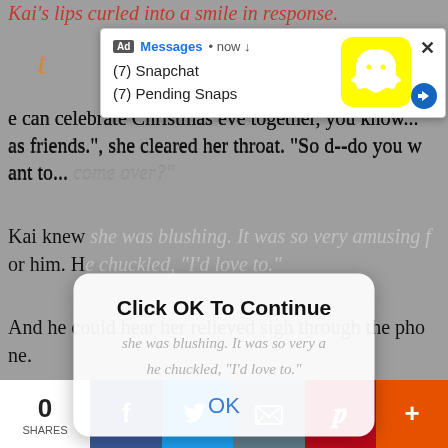Kai's lips curled into a smile in response.
[Figure (screenshot): Snapchat ad notification popup showing '(7) Snapchat' and '(7) Pending Snaps' with Snapchat ghost logo on yellow background, close X button]
She quietly... wrong... ow?", e can celebrate Christmas eve together, you know... as friends.", she cleared her throat. "So d--do you want to... come over?"
[Figure (screenshot): Modal dialog popup with 'Click OK To Continue' text and 'OK' button in blue, overlaying text about Kai knowing she was blushing]
Kai knew she was blushing. It was so very amusing for him. He chuckled, "I'd love to."
And he could hear her relieved sigh through the phone.
"Great.", she said.
0 SHARES | Facebook | Twitter | Email | Pinterest | More